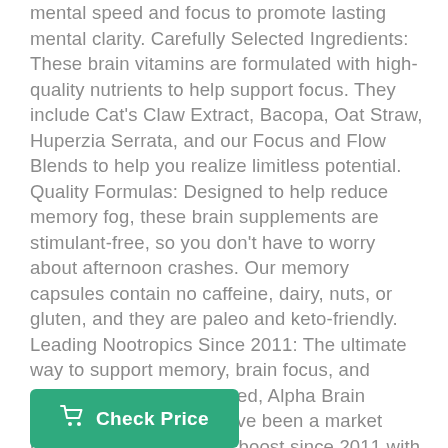mental speed and focus to promote lasting mental clarity. Carefully Selected Ingredients: These brain vitamins are formulated with high-quality nutrients to help support focus. They include Cat's Claw Extract, Bacopa, Oat Straw, Huperzia Serrata, and our Focus and Flow Blends to help you realize limitless potential. Quality Formulas: Designed to help reduce memory fog, these brain supplements are stimulant-free, so you don't have to worry about afternoon crashes. Our memory capsules contain no caffeine, dairy, nuts, or gluten, and they are paleo and keto-friendly. Leading Nootropics Since 2011: The ultimate way to support memory, brain focus, and cognitive processing speed, Alpha Brain memory supplements have been a market leader in nootropic brain boost since 2011 with over 1 million bottles sold.
Check Price